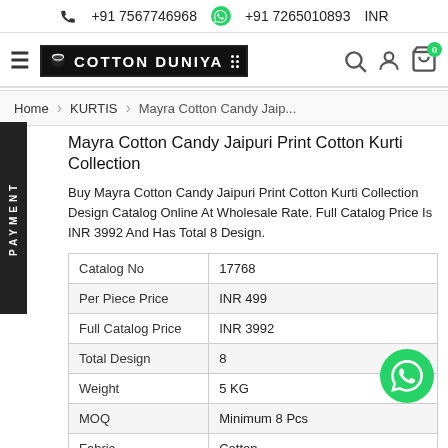+91 7567746968  +91 7265010893  INR
[Figure (logo): Cotton Duniya logo with lotus icon and hamburger menu, search, user, and cart icons]
Home > KURTIS > Mayra Cotton Candy Jaip...
Mayra Cotton Candy Jaipuri Print Cotton Kurti Collection
Buy Mayra Cotton Candy Jaipuri Print Cotton Kurti Collection Design Catalog Online At Wholesale Rate. Full Catalog Price Is INR 3992 And Has Total 8 Design.
| Catalog No | 17768 |
| Per Piece Price | INR 499 |
| Full Catalog Price | INR 3992 |
| Total Design | 8 |
| Weight | 5 KG |
| MOQ | Minimum 8 Pcs |
| Fabric | Cotton |